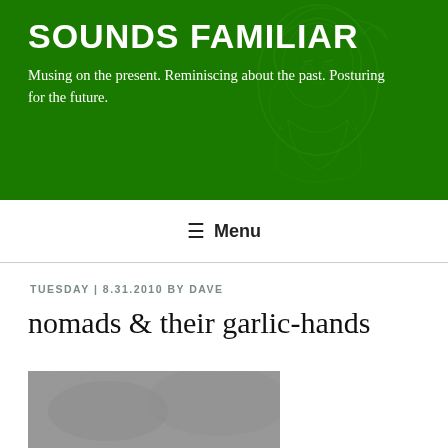SOUNDS FAMILIAR
Musing on the present. Reminiscing about the past. Posturing for the future.
≡ Menu
TUESDAY | 8.31.2010 BY DAVE
nomads & their garlic-hands
[Figure (photo): Black and white photograph of a muddy, scattered ground with debris and broken objects]